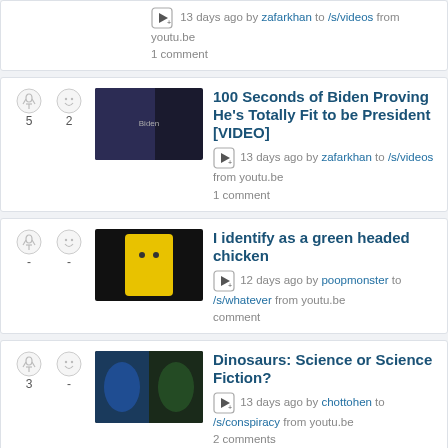13 days ago by zafarkhan to /s/videos from youtu.be
1 comment
100 Seconds of Biden Proving He's Totally Fit to be President [VIDEO]
13 days ago by zafarkhan to /s/videos from youtu.be
1 comment
I identify as a green headed chicken
12 days ago by poopmonster to /s/whatever from youtu.be
comment
Dinosaurs: Science or Science Fiction?
13 days ago by chottohen to /s/conspiracy from youtu.be
2 comments
Barbara Lerner Spectre calls for destruction of Christian European ethnic societies Patriots, New World Order lackeys serving their elite masters want you , your cultures and societies and entire countries